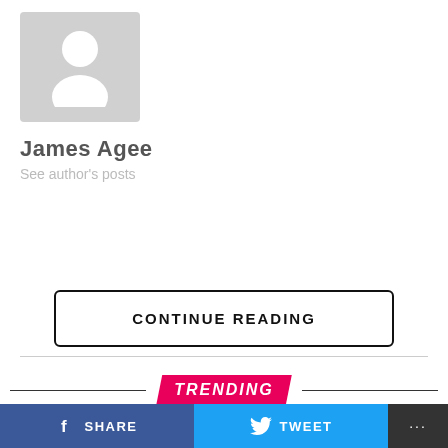[Figure (illustration): Grey placeholder avatar with silhouette of a person (head and shoulders) on a grey background]
James Agee
See author's posts
CONTINUE READING
TRENDING
PERSONAL FINANCE NEWS / 9 months ago
Child Tax Credit 2021 Update: December